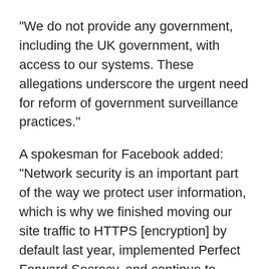“We do not provide any government, including the UK government, with access to our systems. These allegations underscore the urgent need for reform of government surveillance practices.”
A spokesman for Facebook added: “Network security is an important part of the way we protect user information, which is why we finished moving our site traffic to HTTPS [encryption] by default last year, implemented Perfect Forward Secrecy, and continue to strengthen all aspects of our network.”
Twitter also targeted
US and UK officials have stressed that while they may scoop up a lot of data, their actual use of it is targeted.
“All of GCHQ’s work is carried out in accordance with a